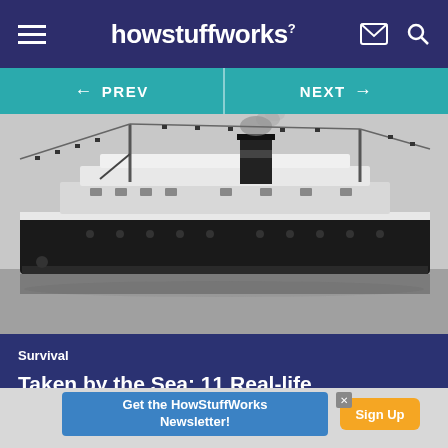howstuffworks
[Figure (screenshot): Navigation bar with PREV and NEXT buttons on teal background]
[Figure (photo): Black and white historical photograph of a large ocean steamship with smoke coming from its funnel, seen from the side in calm water.]
Survival
Taken by the Sea: 11 Real-life Shipwrecks
Get the HowStuffWorks Newsletter!
Sign Up